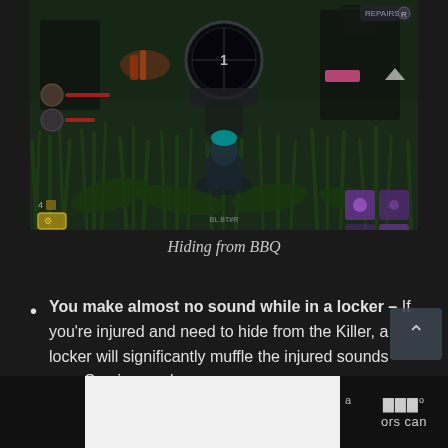[Figure (screenshot): Video game screenshot showing a survivor character crouching in tall grass at night, with game HUD elements including survivor icons, health bars, perk icons in bottom corners, and a scope/weapon visible at top center. The game appears to be Dead by Daylight.]
Hiding from BBQ
You make almost no sound while in a locker – If you're injured and need to hide from the Killer, a locker will significantly muffle the injured sounds your Survivor makes.